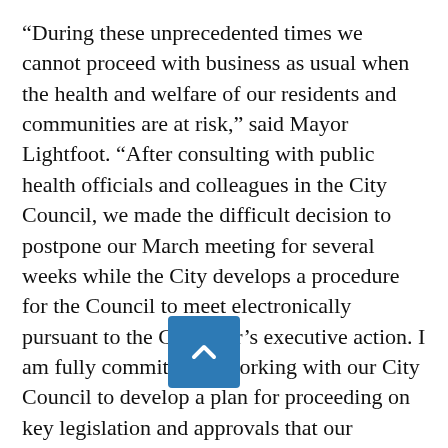“During these unprecedented times we cannot proceed with business as usual when the health and welfare of our residents and communities are at risk,” said Mayor Lightfoot. “After consulting with public health officials and colleagues in the City Council, we made the difficult decision to postpone our March meeting for several weeks while the City develops a procedure for the Council to meet electronically pursuant to the Governor’s executive action. I am fully committed to working with our City Council to develop a plan for proceeding on key legislation and approvals that our communities are counting on while we combat COVID-19. These are trying times, but we are all in this together.”
Mayor Lightfoot will take several emergency executive actions over the next few days to allow for the continuance of government before the next City Council meeting. These actions will increase